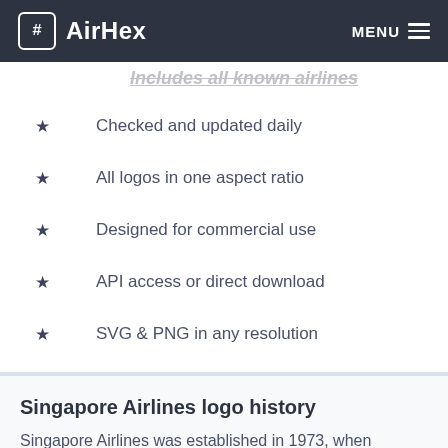AirHex MENU
Includes all known airlines (truncated/partially visible)
Checked and updated daily
All logos in one aspect ratio
Designed for commercial use
API access or direct download
SVG & PNG in any resolution
Singapore Airlines logo history
Singapore Airlines was established in 1973, when